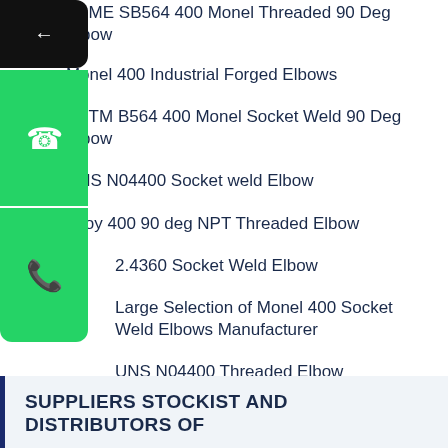ASME SB564 400 Monel Threaded 90 Deg Elbow
Monel 400 Industrial Forged Elbows
ASTM B564 400 Monel Socket Weld 90 Deg Elbow
UNS N04400 Socket weld Elbow
Alloy 400 90 deg NPT Threaded Elbow
2.4360 Socket Weld Elbow
Large Selection of Monel 400 Socket Weld Elbows Manufacturer
UNS N04400 Threaded Elbow
Monel 400 Threaded Elbow
Monel 400 Socket Weld Elbow Supplier
SUPPLIERS STOCKIST AND DISTRIBUTORS OF